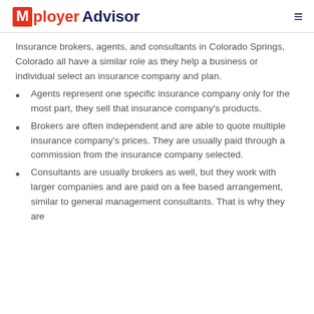Mployer Advisor
Insurance brokers, agents, and consultants in Colorado Springs, Colorado all have a similar role as they help a business or individual select an insurance company and plan.
Agents represent one specific insurance company only for the most part, they sell that insurance company's products.
Brokers are often independent and are able to quote multiple insurance company's prices. They are usually paid through a commission from the insurance company selected.
Consultants are usually brokers as well, but they work with larger companies and are paid on a fee based arrangement, similar to general management consultants. That is why they are